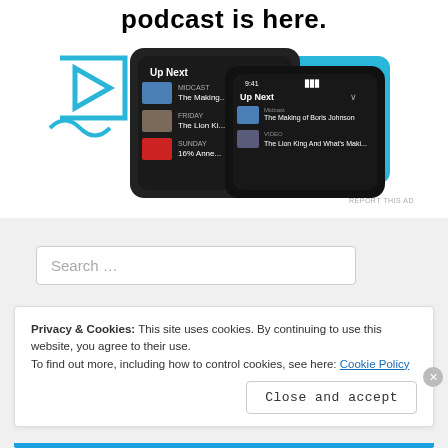podcast is here.
[Figure (screenshot): Advertisement showing smartphone screens with a podcast app 'Up Next' queue interface, with blue play button graphic and cyan background card. Text 'REPORT THIS AD' visible.]
Search …
Privacy & Cookies: This site uses cookies. By continuing to use this website, you agree to their use.
To find out more, including how to control cookies, see here: Cookie Policy
Close and accept